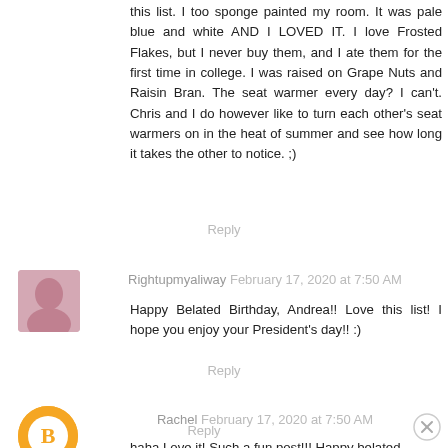this list. I too sponge painted my room. It was pale blue and white AND I LOVED IT. I love Frosted Flakes, but I never buy them, and I ate them for the first time in college. I was raised on Grape Nuts and Raisin Bran. The seat warmer every day? I can't. Chris and I do however like to turn each other's seat warmers on in the heat of summer and see how long it takes the other to notice. ;)
Reply
Rightupmyaliway February 17, 2020 at 7:50 AM
Happy Belated Birthday, Andrea!! Love this list! I hope you enjoy your President's day!! :)
Reply
Rachel February 17, 2020 at 7:50 AM
haha Love it! Such a fun post!!! Happy belated birthday!
Reply